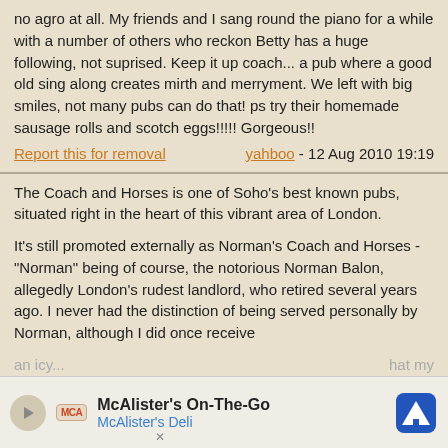no agro at all. My friends and I sang round the piano for a while with a number of others who reckon Betty has a huge following, not suprised. Keep it up coach... a pub where a good old sing along creates mirth and merryment. We left with big smiles, not many pubs can do that! ps try their homemade sausage rolls and scotch eggs!!!!! Gorgeous!!
Report this for removal   yahboo - 12 Aug 2010 19:19
The Coach and Horses is one of Soho's best known pubs, situated right in the heart of this vibrant area of London.
It's still promoted externally as Norman's Coach and Horses - "Norman" being of course, the notorious Norman Balon, allegedly London's rudest landlord, who retired several years ago. I never had the distinction of being served personally by Norman, although I did once receive an icy ... hat my pint m...
[Figure (infographic): McAlister's On-The-Go advertisement banner with McAlister's Deli branding, play button, logo, and navigation icon]